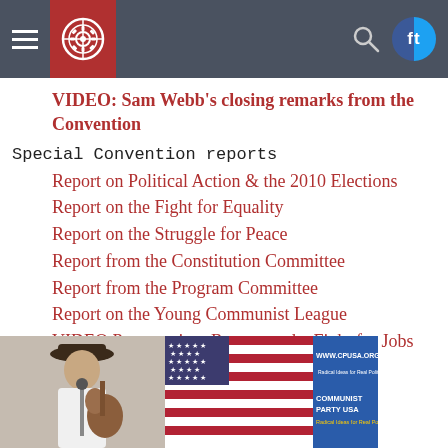Navigation bar with hamburger menu, CPUSA logo, search icon, and social media icons
VIDEO: Sam Webb's closing remarks from the Convention
Special Convention reports
Report on Political Action & the 2010 Elections
Report on the Fight for Equality
Report on the Struggle for Peace
Report from the Constitution Committee
Report from the Program Committee
Report on the Young Communist League
VIDEO Presentation: Report on the Fight for Jobs
[Figure (photo): Person wearing a hat and playing guitar at a CPUSA convention event, with an American flag and a blue COMMUNIST PARTY USA banner visible in the background showing www.cpusa.org]